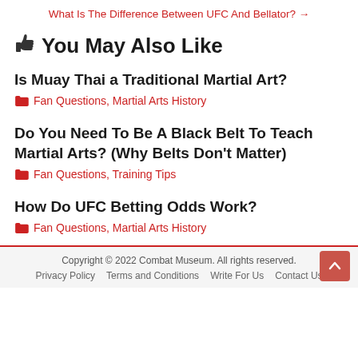What Is The Difference Between UFC And Bellator? →
👍You May Also Like
Is Muay Thai a Traditional Martial Art?
Fan Questions, Martial Arts History
Do You Need To Be A Black Belt To Teach Martial Arts? (Why Belts Don't Matter)
Fan Questions, Training Tips
How Do UFC Betting Odds Work?
Fan Questions, Martial Arts History
Copyright © 2022 Combat Museum. All rights reserved. Privacy Policy Terms and Conditions Write For Us Contact Us